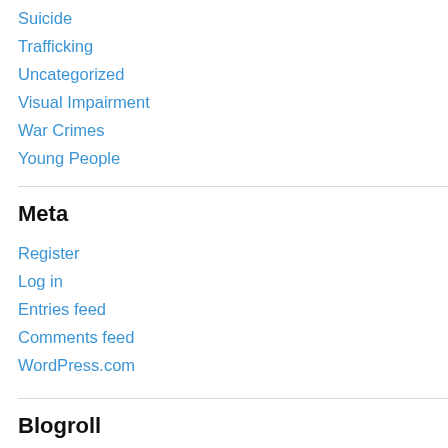Suicide
Trafficking
Uncategorized
Visual Impairment
War Crimes
Young People
Meta
Register
Log in
Entries feed
Comments feed
WordPress.com
Blogroll
Freedom From Torture Each day, staff and volunteers work with